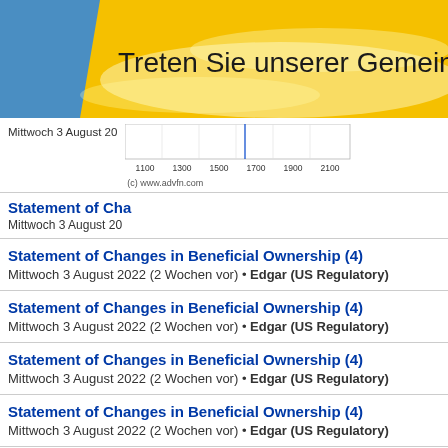[Figure (screenshot): Banner with blue and yellow/gold gradient background. Text reads: Treten Sie unserer Gemeinsch...]
Mittwoch 3 August 20...
[Figure (other): Small stock chart with x-axis labels: 1100, 1300, 1500, 1700, 1900, 2100. Caption: (c) www.advfn.com]
Statement of Cha... / Mittwoch 3 August 20...
Statement of Changes in Beneficial Ownership (4)
Mittwoch 3 August 2022 (2 Wochen vor) • Edgar (US Regulatory)
Statement of Changes in Beneficial Ownership (4)
Mittwoch 3 August 2022 (2 Wochen vor) • Edgar (US Regulatory)
Statement of Changes in Beneficial Ownership (4)
Mittwoch 3 August 2022 (2 Wochen vor) • Edgar (US Regulatory)
Statement of Changes in Beneficial Ownership (4)
Mittwoch 3 August 2022 (2 Wochen vor) • Edgar (US Regulatory)
Weitere American Well Corporation New...
Mitglied...